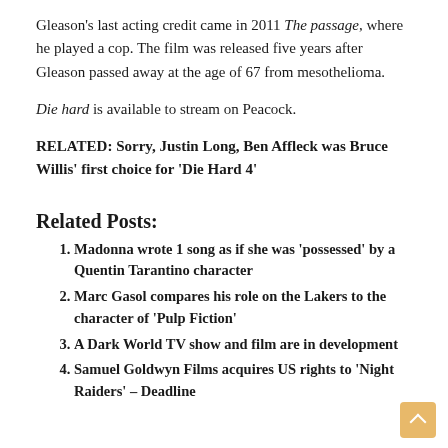Gleason's last acting credit came in 2011 The passage, where he played a cop. The film was released five years after Gleason passed away at the age of 67 from mesothelioma.
Die hard is available to stream on Peacock.
RELATED: Sorry, Justin Long, Ben Affleck was Bruce Willis' first choice for 'Die Hard 4'
Related Posts:
Madonna wrote 1 song as if she was 'possessed' by a Quentin Tarantino character
Marc Gasol compares his role on the Lakers to the character of 'Pulp Fiction'
A Dark World TV show and film are in development
Samuel Goldwyn Films acquires US rights to 'Night Raiders' – Deadline